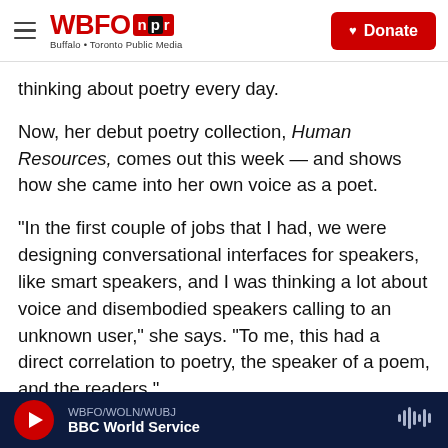WBFO NPR – Buffalo + Toronto Public Media | Donate
thinking about poetry every day.
Now, her debut poetry collection, Human Resources, comes out this week — and shows how she came into her own voice as a poet.
"In the first couple of jobs that I had, we were designing conversational interfaces for speakers, like smart speakers, and I was thinking a lot about voice and disembodied speakers calling to an unknown user," she says. "To me, this had a direct correlation to poetry, the speaker of a poem, and the readers."
WBFO/WOLN/WUBJ BBC World Service